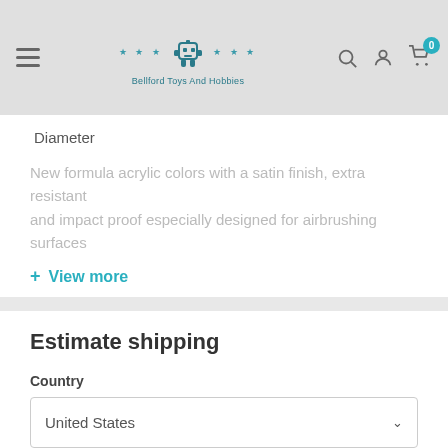Bellford Toys And Hobbies — navigation header with logo, search, account, and cart icons
Diameter
New formula acrylic colors with a satin finish, extra resistant and impact proof especially designed for airbrushing surfaces
+ View more
Estimate shipping
Country
United States
Province